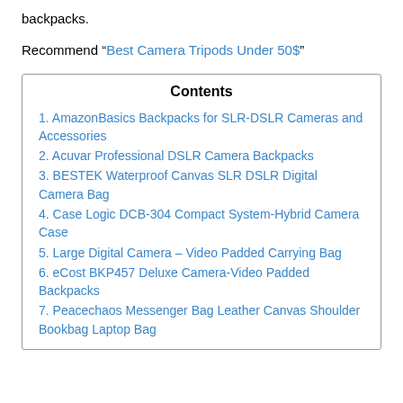backpacks.
Recommend “Best Camera Tripods Under 50$”
| Contents |
| --- |
| 1.  AmazonBasics Backpacks for SLR-DSLR Cameras and Accessories |
| 2.  Acuvar Professional DSLR Camera Backpacks |
| 3.  BESTEK Waterproof Canvas SLR DSLR Digital Camera Bag |
| 4.  Case Logic DCB-304 Compact System-Hybrid Camera Case |
| 5. Large Digital Camera – Video Padded Carrying Bag |
| 6. eCost BKP457 Deluxe Camera-Video Padded Backpacks |
| 7. Peacechaos Messenger Bag Leather Canvas Shoulder Bookbag Laptop Bag |